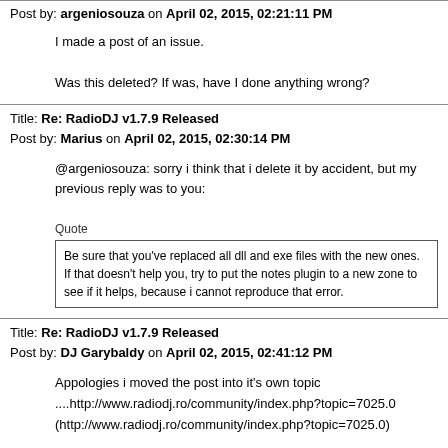Post by: argeniosouza on April 02, 2015, 02:21:11 PM
I made a post of an issue.

Was this deleted? If was, have I done anything wrong?
Title: Re: RadioDJ v1.7.9 Released
Post by: Marius on April 02, 2015, 02:30:14 PM
@argeniosouza: sorry i think that i delete it by accident, but my previous reply was to you:
Quote
Be sure that you've replaced all dll and exe files with the new ones.
If that doesn't help you, try to put the notes plugin to a new zone to see if it helps, because i cannot reproduce that error.
Title: Re: RadioDJ v1.7.9 Released
Post by: DJ Garybaldy on April 02, 2015, 02:41:12 PM
Appologies i moved the post into it's own topic
....http://www.radiodj.ro/community/index.php?topic=7025.0
(http://www.radiodj.ro/community/index.php?topic=7025.0)
Title: Re: RadioDJ v1.7.9 Released
Post by: Vanlen on April 02, 2015, 04:42:30 PM